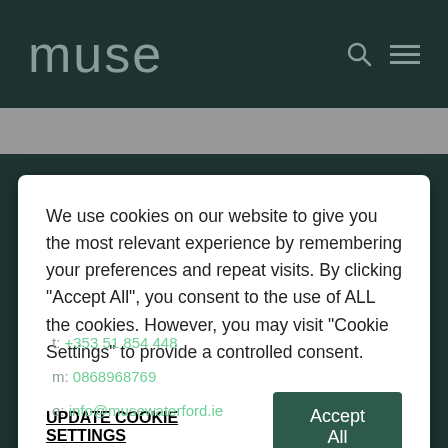muse
We use cookies on our website to give you the most relevant experience by remembering your preferences and repeat visits. By clicking "Accept All", you consent to the use of ALL the cookies. However, you may visit "Cookie Settings" to provide a controlled consent.
UPDATE COOKIE SETTINGS  Accept All
t: +353 51 854 448
m: 0868968769
e: info@musewaterford.ie